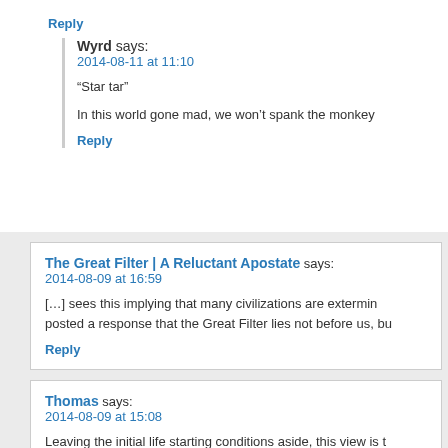Reply
Wyrd says:
2014-08-11 at 11:10
“Star tar”
In this world gone mad, we won’t spank the monkey
Reply
The Great Filter | A Reluctant Apostate says:
2014-08-09 at 16:59
[...] sees this implying that many civilizations are extermin... posted a response that the Great Filter lies not before us, bu...
Reply
Thomas says:
2014-08-09 at 15:08
Leaving the initial life starting conditions aside, this view is t... know. Life is extremely rare, it’s still early in the history. Bu... can be the last one, too.
Reply